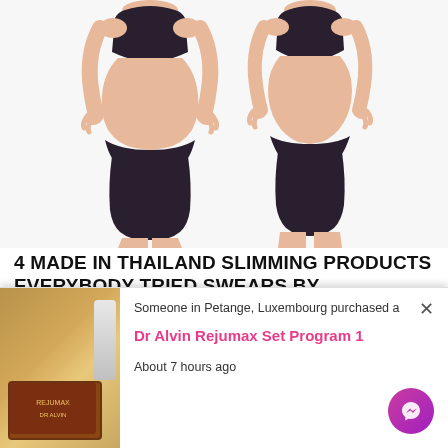[Figure (illustration): Side-by-side before and after illustration of two female figures in black sportswear showing body transformation, left figure with more curves/fat, right figure slimmer]
4 MADE IN THAILAND SLIMMING PRODUCTS EVERYBODY TRIED SWEARS BY
Made in Thailand slimming products are well
[Figure (other): Popup notification showing product purchase: 'Someone in Petange, Luxembourg purchased a Dr Alvin Rejumax Set Program 1 About 7 hours ago' with product image on left, close X button, and messenger icon]
your life to drift away before you decide to